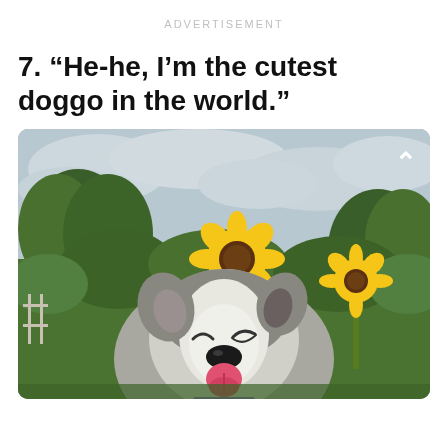ADVERTISEMENT
7. “He-he, I’m the cutest doggo in the world.”
[Figure (photo): A happy husky/malamute dog smiling with tongue out, surrounded by sunflowers and green foliage, overcast sky in background, with a white chevron arrow on the right side of the image.]